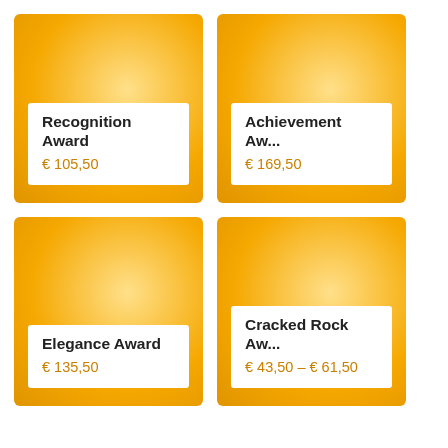[Figure (illustration): Product card with orange radial gradient background. Title: Recognition Award. Price: € 105,50]
[Figure (illustration): Product card with orange radial gradient background. Title: Achievement Aw... Price: € 169,50]
[Figure (illustration): Product card with orange radial gradient background. Title: Elegance Award. Price: € 135,50]
[Figure (illustration): Product card with orange radial gradient background. Title: Cracked Rock Aw... Price: € 43,50 – € 61,50]